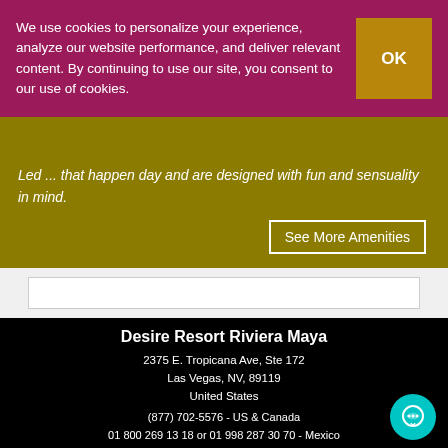We use cookies to personalize your experience, analyze our website performance, and deliver relevant content. By continuing to use our site, you consent to our use of cookies.
Led ... that happen day and are designed with fun and sensuality in mind.
See More Amenities
Desire Resort Riviera Maya
2375 E. Tropicana Ave, Ste 172
Las Vegas, NV, 89119
United States
(877) 702-5576 - US & Canada
01 800 269 13 18 or 01 998 287 30 70 - Mexico
+1 (702) 560-0669 - International